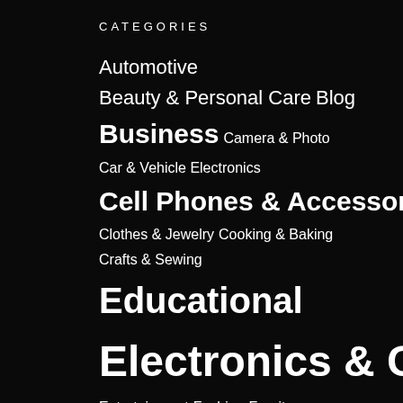CATEGORIES
Automotive Beauty & Personal Care Blog Business Camera & Photo Car & Vehicle Electronics Cell Phones & Accessories Clothes & Jewelry Cooking & Baking Crafts & Sewing Educational Electronics & Computers Entertainment Fashion Furnitures Health & Beauty Home & Kitchen Infographic Kids & Baby Lawn & Gardening Medical supplies & Equipment Musical Instruments